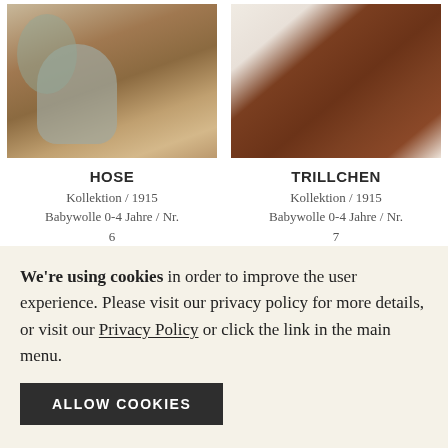[Figure (photo): Baby in grey knit outfit lying in a wicker basket with eucalyptus leaves on tan fabric]
[Figure (photo): Child wearing a rust/brown chunky knit cardigan sweater, close-up torso with hand in pocket]
HOSE
Kollektion / 1915
Babywolle 0-4 Jahre / Nr. 6
TRILLCHEN
Kollektion / 1915
Babywolle 0-4 Jahre / Nr. 7
We're using cookies in order to improve the user experience. Please visit our privacy policy for more details, or visit our Privacy Policy or click the link in the main menu.